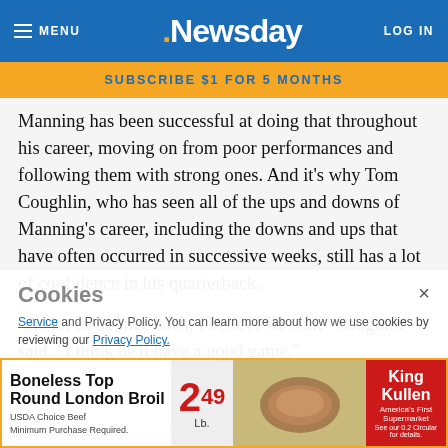MENU | Newsday | LOG IN
SUBSCRIBE $1 FOR 5 MONTHS
Manning has been successful at doing that throughout his career, moving on from poor performances and following them with strong ones. And it's why Tom Coughlin, who has seen all of the ups and downs of Manning's career, including the downs and ups that have often occurred in successive weeks, still has a lot of confidence in his quarterback.
"As far as bounce back, I believe he will," Coughlin said. "I think he'll have a good game."
History is on his side. Sunday was the 19th time in his career...intercept...3 of
[Figure (screenshot): Cookies consent overlay with close button, showing cookie policy text with links to Terms of Service and Privacy Policy]
[Figure (infographic): King Kullen advertisement for Boneless Top Round London Broil at $2.49/lb]